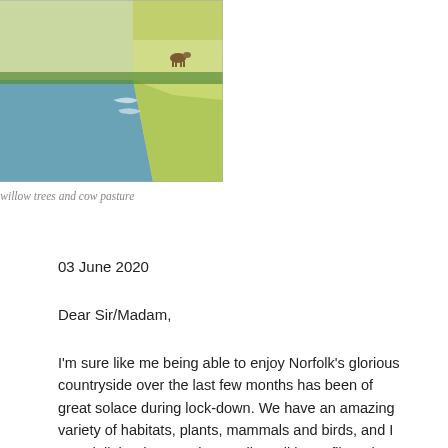[Figure (photo): Norfolk waterway with willow trees and cow pasture — a river or canal running through green fields with willow trees on the left bank and cow pasture on the right, sunny day]
Norfolk waterway with willow trees and cow pasture
03 June 2020
Dear Sir/Madam,
I'm sure like me being able to enjoy Norfolk's glorious countryside over the last few months has been of great solace during lock-down. We have an amazing variety of habitats, plants, mammals and birds, and I was delighted to see the Swallowtail butterflies when I cycled up to Hickling